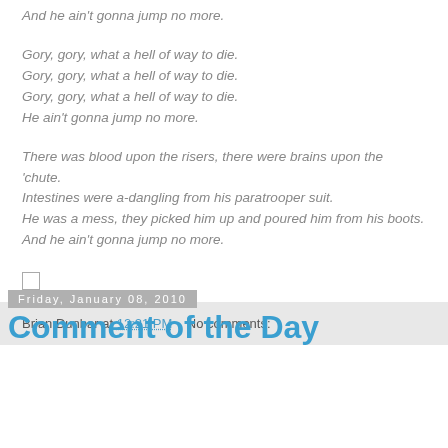And he ain't gonna jump no more.
Gory, gory, what a hell of way to die.
Gory, gory, what a hell of way to die.
Gory, gory, what a hell of way to die.
He ain't gonna jump no more.
There was blood upon the risers, there were brains upon the 'chute.
Intestines were a-dangling from his paratrooper suit.
He was a mess, they picked him up and poured him from his boots.
And he ain't gonna jump no more.
[Figure (other): Small empty checkbox square]
Brian Dunbar at 12:21 PM    No comments:
Friday, January 08, 2010
Comment of the Day